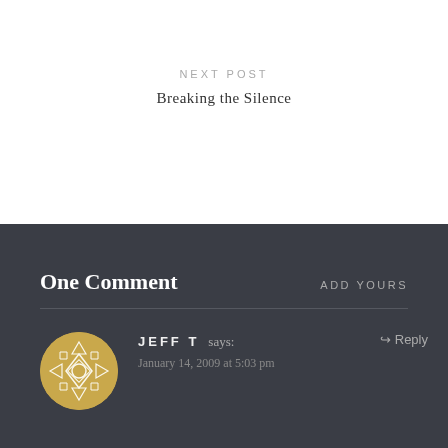NEXT POST
Breaking the Silence
One Comment
ADD YOURS
JEFF T says:
January 14, 2009 at 5:03 pm
Reply